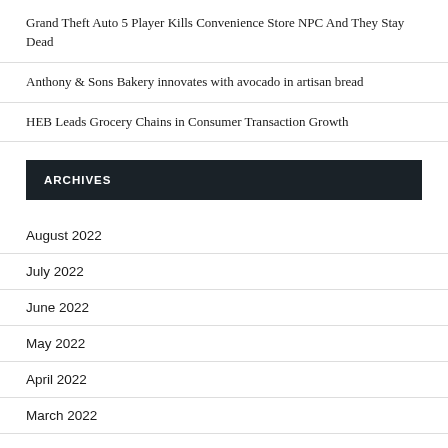Grand Theft Auto 5 Player Kills Convenience Store NPC And They Stay Dead
Anthony & Sons Bakery innovates with avocado in artisan bread
HEB Leads Grocery Chains in Consumer Transaction Growth
ARCHIVES
August 2022
July 2022
June 2022
May 2022
April 2022
March 2022